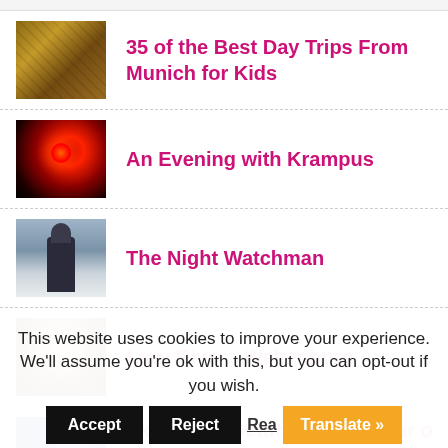35 of the Best Day Trips From Munich for Kids
An Evening with Krampus
The Night Watchman
Lazy River - Weltenburg
Sky High - Getting Over a Fear of
This website uses cookies to improve your experience. We'll assume you're ok with this, but you can opt-out if you wish.